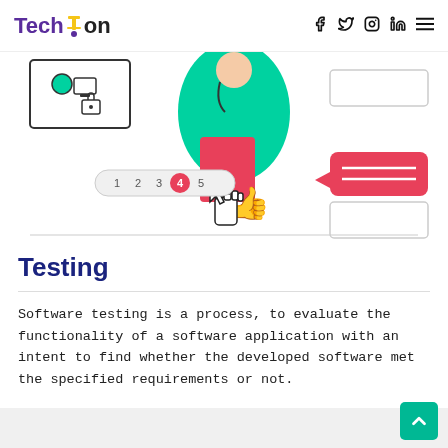Techmon — navigation icons: facebook, twitter, instagram, linkedin, menu
[Figure (illustration): Illustration of a person in a teal lab coat holding a red folder with a thumbs-up cursor, surrounded by UI elements including a pagination bar (1 2 3 4 5), login screen mockup, and a speech bubble. A horizontal divider line appears at the bottom of the illustration.]
Testing
Software testing is a process, to evaluate the functionality of a software application with an intent to find whether the developed software met the specified requirements or not.